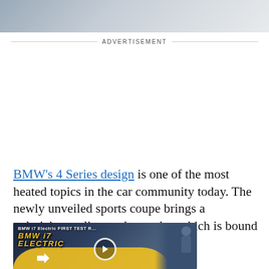[Figure (photo): Partial view of a car photo at the top of the page, showing the upper portion of a vehicle against a light background]
ADVERTISEMENT
BMW's 4 Series design is one of the most heated topics in the car community today. The newly unveiled sports coupe brings a polarizing styling to the market which is bound to create some buzz.
[Figure (screenshot): Video thumbnail showing BMW i7 Electric FIRST TEST with text overlay and a play button. Shows a person standing next to a BMW i7 with yellow and black graphic elements.]